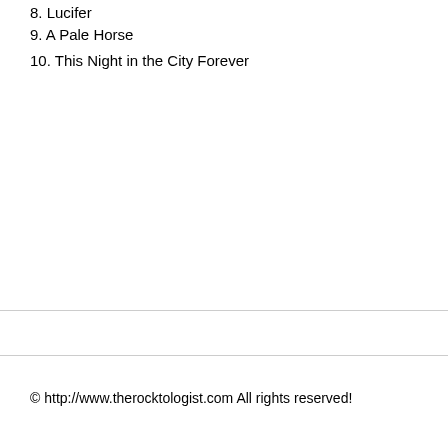8. Lucifer
9. A Pale Horse
10. This Night in the City Forever
© http://www.therocktologist.com All rights reserved!